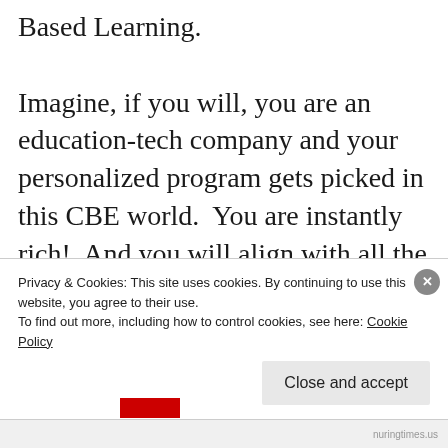Based Learning.
Imagine, if you will, you are an education-tech company and your personalized program gets picked in this CBE world.  You are instantly rich!  And you will align with all the other companies to make sure you stay that way.  You will join consortiums and committees, and as your company
Privacy & Cookies: This site uses cookies. By continuing to use this website, you agree to their use.
To find out more, including how to control cookies, see here: Cookie Policy
Close and accept
nuringtimes.us